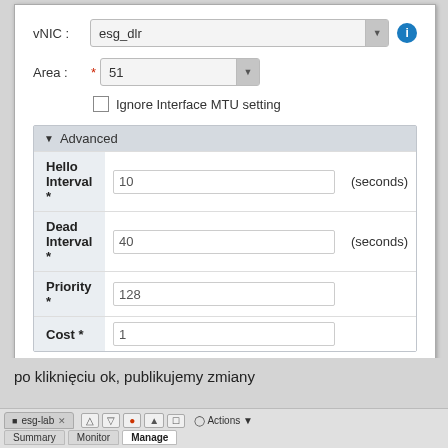[Figure (screenshot): Dialog box for configuring OSPF interface settings with fields: vNIC (esg_dlr), Area (51), Ignore Interface MTU setting checkbox, and Advanced section with Hello Interval (10 seconds), Dead Interval (40 seconds), Priority (128), Cost (1). OK and Cancel buttons at bottom.]
po kliknięciu ok, publikujemy zmiany
[Figure (screenshot): Browser toolbar showing tabs including esg-lab with Summary, Monitor, Manage tabs, with Manage tab active.]